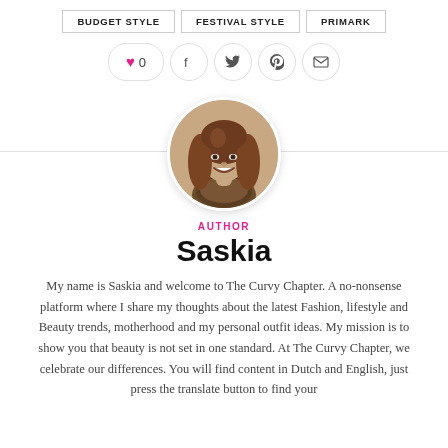BUDGET STYLE | FESTIVAL STYLE | PRIMARK
♥ 0  f  t  p  ✉
[Figure (photo): Circular portrait photo of Saskia, a woman with long curly hair, smiling, wearing a leopard print outfit]
AUTHOR
Saskia
My name is Saskia and welcome to The Curvy Chapter. A no-nonsense platform where I share my thoughts about the latest Fashion, lifestyle and Beauty trends, motherhood and my personal outfit ideas. My mission is to show you that beauty is not set in one standard. At The Curvy Chapter, we celebrate our differences. You will find content in Dutch and English, just press the translate button to find your